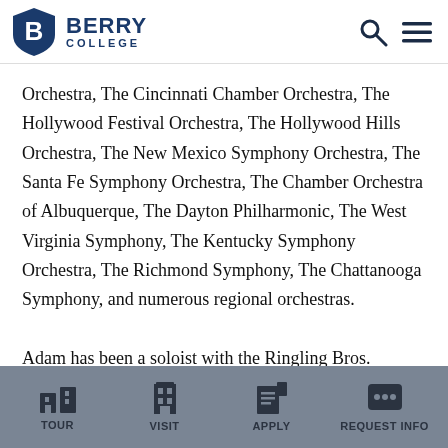Berry College
Orchestra, The Cincinnati Chamber Orchestra, The Hollywood Festival Orchestra, The Hollywood Hills Orchestra, The New Mexico Symphony Orchestra, The Santa Fe Symphony Orchestra, The Chamber Orchestra of Albuquerque, The Dayton Philharmonic, The West Virginia Symphony, The Kentucky Symphony Orchestra, The Richmond Symphony, The Chattanooga Symphony, and numerous regional orchestras.

Adam has been a soloist with the Ringling Bros.
TOUR | VISIT | APPLY | REQUEST INFO